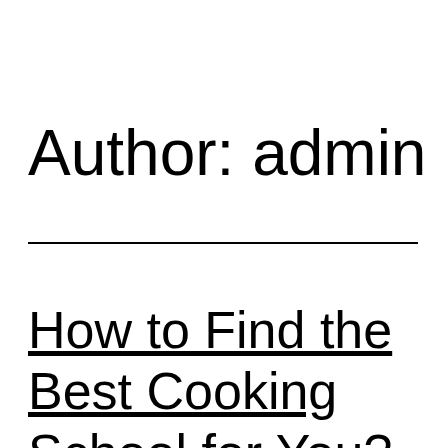Author: admin
How to Find the Best Cooking School for You?